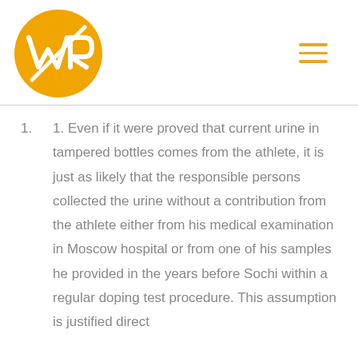[Figure (logo): WR logo: orange circle with white WR letters and a diagonal line through it]
1. Even if it were proved that current urine in tampered bottles comes from the athlete, it is just as likely that the responsible persons collected the urine without a contribution from the athlete either from his medical examination in Moscow hospital or from one of his samples he provided in the years before Sochi within a regular doping test procedure. This assumption is justified direct